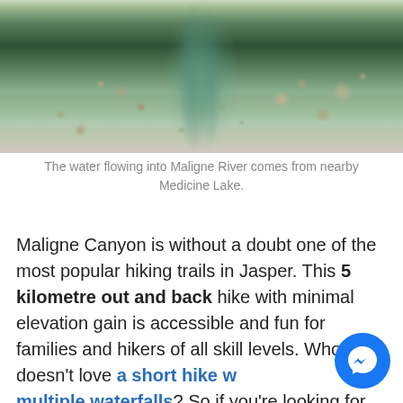[Figure (photo): Overhead view of a clear shallow stream with smooth river rocks and pebbles visible through the water, surrounded by rocky banks. The water is very clear and greenish, with colorful rounded stones on the streambed.]
The water flowing into Maligne River comes from nearby Medicine Lake.
Maligne Canyon is without a doubt one of the most popular hiking trails in Jasper. This 5 kilometre out and back hike with minimal elevation gain is accessible and fun for families and hikers of all skill levels. Who doesn't love a short hike with multiple waterfalls? So if you're looking for